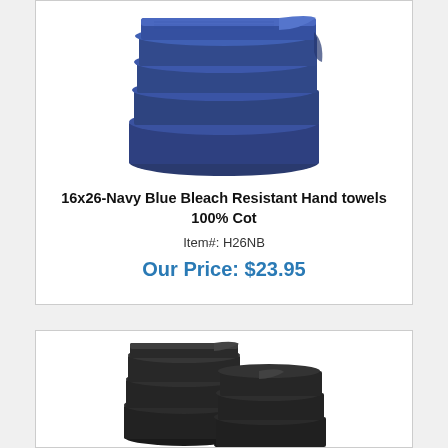[Figure (photo): Stack of navy blue bleach resistant hand towels folded neatly]
16x26-Navy Blue Bleach Resistant Hand towels 100% Cot
Item#: H26NB
Our Price: $23.95
[Figure (photo): Stack of dark charcoal/black bleach resistant hand towels]